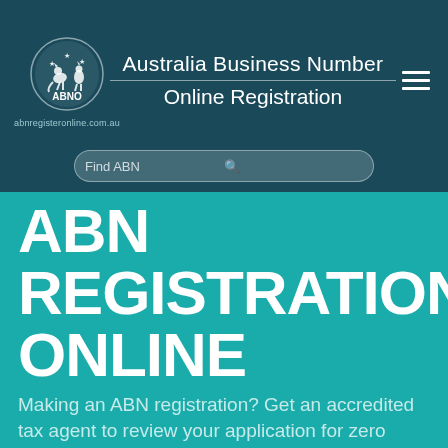Australia Business Number Online Registration
[Figure (logo): ABNO logo with kangaroo and emu crest, text ABNO below]
abnregisteronline.com.au
Find ABN
ABN REGISTRATION ONLINE
Making an ABN registration? Get an accredited tax agent to review your application for zero errors